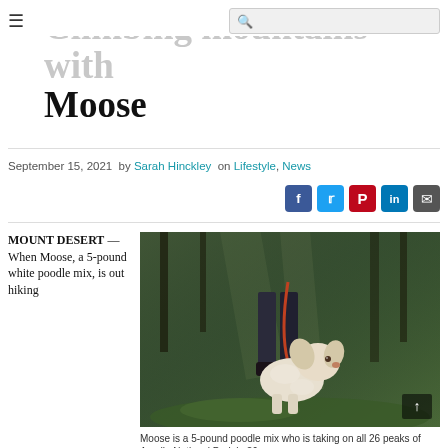≡  [search icon]
Climbing mountains with Moose
September 15, 2021  by Sarah Hinckley  on Lifestyle, News
[Figure (photo): A small white fluffy poodle mix dog on a leash in a forest, with mossy rocks and trees in the background. A person's legs are visible behind the dog.]
Moose is a 5-pound poodle mix who is taking on all 26 peaks of Acadia National Park in 26...
MOUNT DESERT — When Moose, a 5-pound white poodle mix, is out hiking